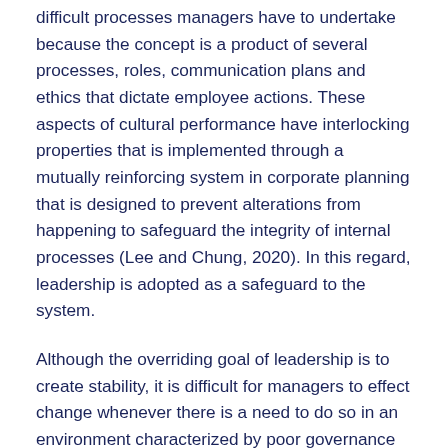difficult processes managers have to undertake because the concept is a product of several processes, roles, communication plans and ethics that dictate employee actions. These aspects of cultural performance have interlocking properties that is implemented through a mutually reinforcing system in corporate planning that is designed to prevent alterations from happening to safeguard the integrity of internal processes (Lee and Chung, 2020). In this regard, leadership is adopted as a safeguard to the system.
Although the overriding goal of leadership is to create stability, it is difficult for managers to effect change whenever there is a need to do so in an environment characterized by poor governance (Yasir et al., 2016). This is why many managers have failed to implement change management policies in their organisations because, even though they may register substantial change after introducing a new policy, the interlocking elements of culture tend to negate the effects of any changes made.